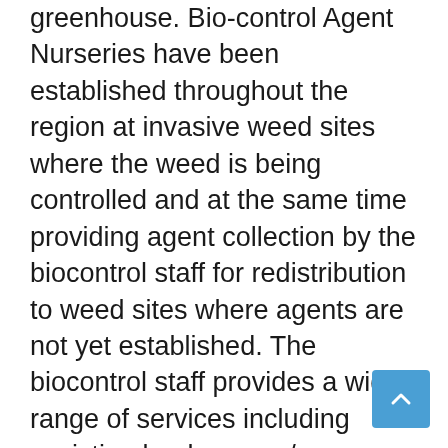greenhouse. Bio-control Agent Nurseries have been established throughout the region at invasive weed sites where the weed is being controlled and at the same time providing agent collection by the biocontrol staff for redistribution to weed sites where agents are not yet established. The biocontrol staff provides a wide range of services including assisting land owners/managers develop a weed management strategy. “We can easily inventory your weed problem to determine if biocontrol agents are already present.”

Technical Transfer Workshops (a biological control educational tool) are conducted every summer at the Center and at